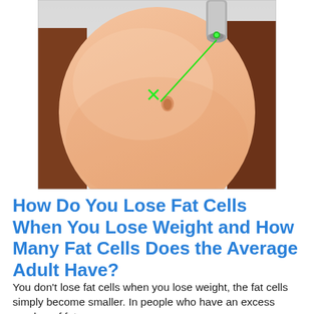[Figure (photo): A close-up photo of a person's abdomen/stomach area being treated with a green laser. The person is wearing a brown garment. A metal laser device emitting a green beam is pointed at the skin near the navel.]
How Do You Lose Fat Cells When You Lose Weight and How Many Fat Cells Does the Average Adult Have?
You don't lose fat cells when you lose weight, the fat cells simply become smaller. In people who have an excess number of fat